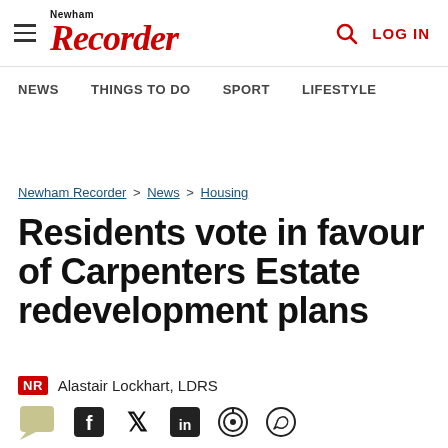Newham Recorder — NEWS  THINGS TO DO  SPORT  LIFESTYLE — LOG IN
Newham Recorder > News > Housing
Residents vote in favour of Carpenters Estate redevelopment plans
NR  Alastair Lockhart, LDRS